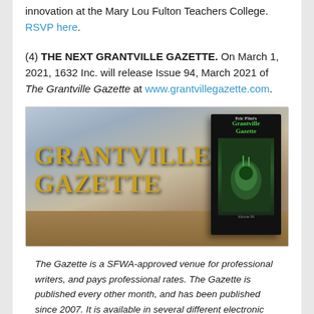innovation at the Mary Lou Fulton Teachers College. RSVP here.
(4) THE NEXT GRANTVILLE GAZETTE. On March 1, 2021, 1632 Inc. will release Issue 94, March 2021 of The Grantville Gazette at www.grantvillegazette.com.
[Figure (photo): Photo of a book titled 'Eric Flint's Grantville Gazette' displayed on a wooden table with the words GRANTVILLE GAZETTE in gold decorative font on the left side of the image.]
The Gazette is a SFWA-approved venue for professional writers, and pays professional rates. The Gazette is published every other month, and has been published since 2007. It is available in several different electronic editions, including Kindle, ePub, PDF and more. It can be